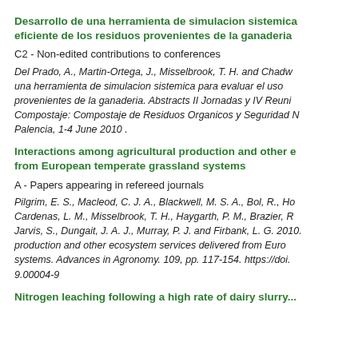Desarrollo de una herramienta de simulacion sistemica eficiente de los residuos provenientes de la ganaderia
C2 - Non-edited contributions to conferences
Del Prado, A., Martin-Ortega, J., Misselbrook, T. H. and Chadw una herramienta de simulacion sistemica para evaluar el uso provenientes de la ganaderia. Abstracts II Jornadas y IV Reuni Compostaje: Compostaje de Residuos Organicos y Seguridad N Palencia, 1-4 June 2010 .
Interactions among agricultural production and other e from European temperate grassland systems
A - Papers appearing in refereed journals
Pilgrim, E. S., Macleod, C. J. A., Blackwell, M. S. A., Bol, R., Ho Cardenas, L. M., Misselbrook, T. H., Haygarth, P. M., Brazier, R Jarvis, S., Dungait, J. A. J., Murray, P. J. and Firbank, L. G. 2010. production and other ecosystem services delivered from Euro systems. Advances in Agronomy. 109, pp. 117-154. https://doi. 9.00004-9
Nitrogen leaching following a high rate of dairy slurry...